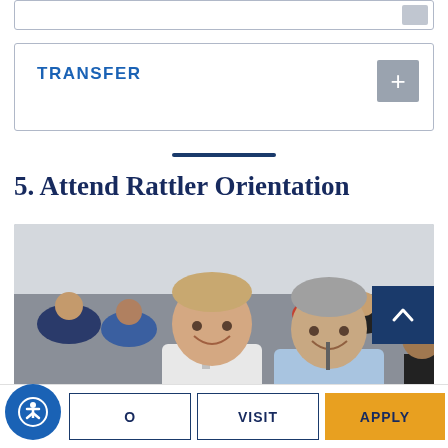TRANSFER
5. Attend Rattler Orientation
[Figure (photo): Two smiling men, a young college-age student with a blue lanyard and an older man in a light blue shirt, seated in an orientation session room filled with other students in the background.]
O
VISIT
APPLY